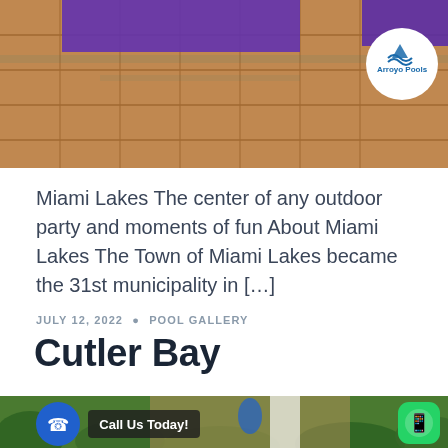[Figure (photo): Pool area with purple water and terracotta tile flooring, Arroyo Pools logo in top right corner]
Miami Lakes The center of any outdoor party and moments of fun About Miami Lakes The Town of Miami Lakes became the 31st municipality in [...]
JULY 12, 2022 · POOL GALLERY
Cutler Bay
[Figure (photo): Cutler Bay pool area with garden, blue call button, 'Call Us Today!' label, and WhatsApp button]